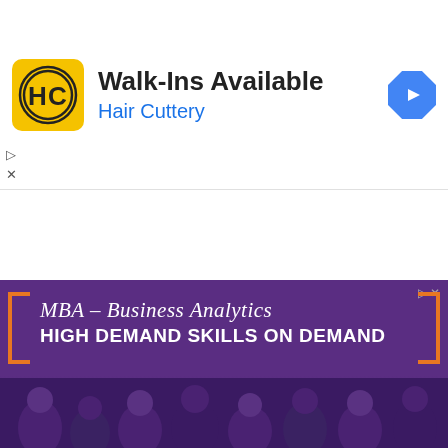[Figure (infographic): Hair Cuttery advertisement banner. Yellow square logo with HC monogram, text 'Walk-Ins Available' in bold black, 'Hair Cuttery' in blue, and a blue diamond navigation icon on the right.]
[Figure (infographic): MBA Business Analytics advertisement banner with purple background. Text reads 'MBA – Business Analytics' in white italic serif font and 'HIGH DEMAND SKILLS ON DEMAND' in bold white. Orange bracket decorations on left and right. People visible at bottom.]